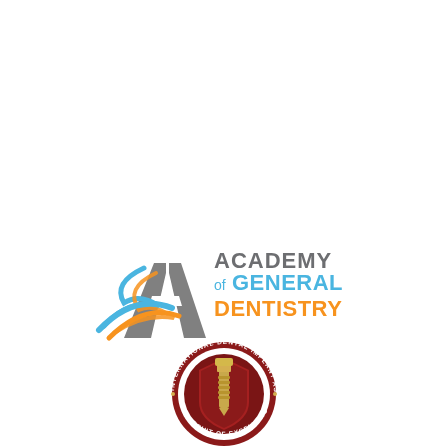[Figure (logo): Academy of General Dentistry logo with stylized A and swoosh in gray and blue, with text ACADEMY of GENERAL DENTISTRY where GENERAL DENTISTRY is in orange and ACADEMY of is in gray/blue]
[Figure (logo): International Dental Implant Association circular badge/seal with dark red border, gold dental implant in center, text around the perimeter reading INTERNATIONAL DENTAL IMPLANT ASSOCIATION and PURSUIT OF EXCELLENCE]